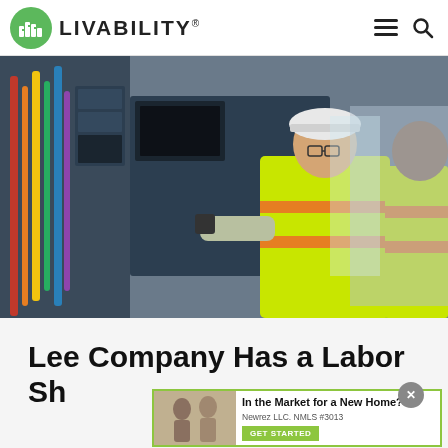LIVABILITY
[Figure (photo): Two workers in yellow/green high-visibility safety vests and hard hats examining an electrical panel or industrial equipment. One worker wears glasses and a white hard hat, reaching into the panel. Another worker stands to the right.]
Lee Company Has a Labor Sh...
[Figure (other): Advertisement overlay: 'In the Market for a New Home? Newrez LLC. NMLS #3013' with GET STARTED button, and a small photo of people. Close button (X) in top right of ad area.]